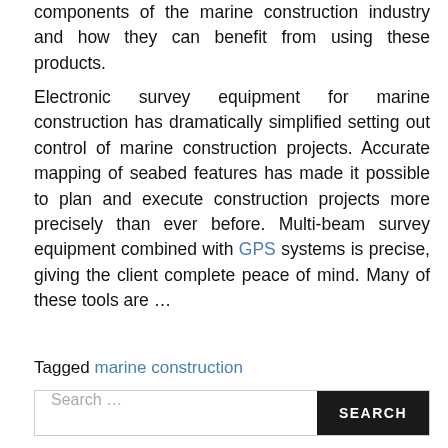components of the marine construction industry and how they can benefit from using these products.
Electronic survey equipment for marine construction has dramatically simplified setting out control of marine construction projects. Accurate mapping of seabed features has made it possible to plan and execute construction projects more precisely than ever before. Multi-beam survey equipment combined with GPS systems is precise, giving the client complete peace of mind. Many of these tools are …
Tagged marine construction